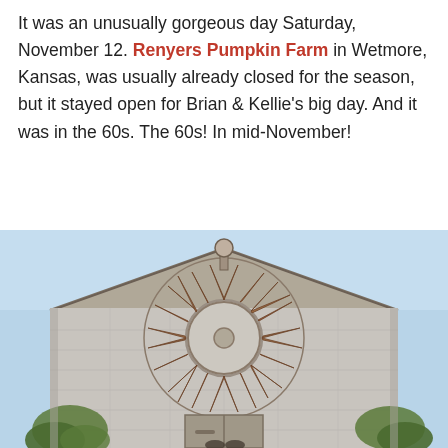It was an unusually gorgeous day Saturday, November 12. Renyers Pumpkin Farm in Wetmore, Kansas, was usually already closed for the season, but it stayed open for Brian & Kellie's big day. And it was in the 60s. The 60s! In mid-November!
[Figure (photo): A large white barn façade with a giant rusted windmill wheel mounted on the front gable. The windmill has many curved rust-brown metal blades radiating from a central hub. Green foliage is visible at the lower corners. Two people (partially visible) stand at the base of the barn door below the windmill.]